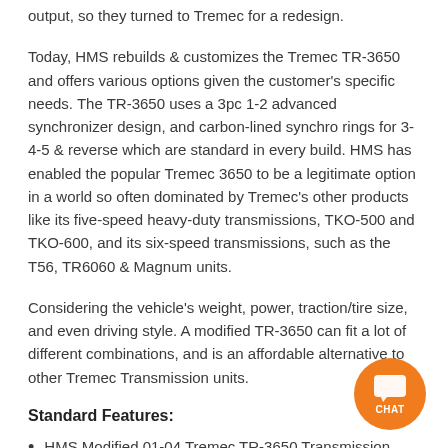output, so they turned to Tremec for a redesign.
Today, HMS rebuilds & customizes the Tremec TR-3650 and offers various options given the customer's specific needs. The TR-3650 uses a 3pc 1-2 advanced synchronizer design, and carbon-lined synchro rings for 3-4-5 & reverse which are standard in every build. HMS has enabled the popular Tremec 3650 to be a legitimate option in a world so often dominated by Tremec's other products like its five-speed heavy-duty transmissions, TKO-500 and TKO-600, and its six-speed transmissions, such as the T56, TR6060 & Magnum units.
Considering the vehicle's weight, power, traction/tire size, and even driving style. A modified TR-3650 can fit a lot of different combinations, and is an affordable alternative to other Tremec Transmission units.
Standard Features:
HMS Modified 01-04 Tremec TR-3650 Transmission
Perfect for Coyote Swaps or Factory Replacement